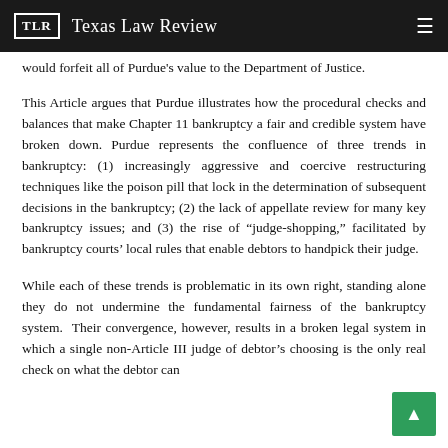TLR Texas Law Review
would forfeit all of Purdue's value to the Department of Justice.
This Article argues that Purdue illustrates how the procedural checks and balances that make Chapter 11 bankruptcy a fair and credible system have broken down. Purdue represents the confluence of three trends in bankruptcy: (1) increasingly aggressive and coercive restructuring techniques like the poison pill that lock in the determination of subsequent decisions in the bankruptcy; (2) the lack of appellate review for many key bankruptcy issues; and (3) the rise of "judge-shopping," facilitated by bankruptcy courts' local rules that enable debtors to handpick their judge.
While each of these trends is problematic in its own right, standing alone they do not undermine the fundamental fairness of the bankruptcy system. Their convergence, however, results in a broken legal system in which a single non-Article III judge of debtor's choosing is the only real check on what the debtor can